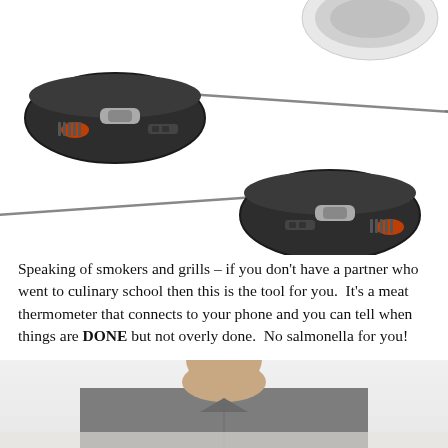[Figure (photo): Two dark grey/black oval-shaped wireless meat thermometer pods with stainless steel probe needles extending from them, and a white circular device partially visible in the upper right corner.]
Speaking of smokers and grills – if you don't have a partner who went to culinary school then this is the tool for you.  It's a meat thermometer that connects to your phone and you can tell when things are DONE but not overly done.  No salmonella for you!
[Figure (photo): Close-up photo of a man's neck and shoulders wearing a grey t-shirt, cropped at chin level, with a light background at the bottom.]